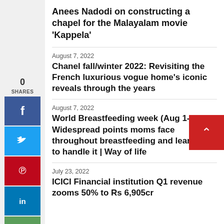Anees Nadodi on constructing a chapel for the Malayalam movie ‘Kappela’
August 7, 2022
Chanel fall/winter 2022: Revisiting the French luxurious vogue home’s iconic reveals through the years
August 7, 2022
World Breastfeeding week (Aug 1-7): Widespread points moms face throughout breastfeeding and learn how to handle it | Way of life
July 23, 2022
ICICI Financial institution Q1 revenue zooms 50% to Rs 6,905cr